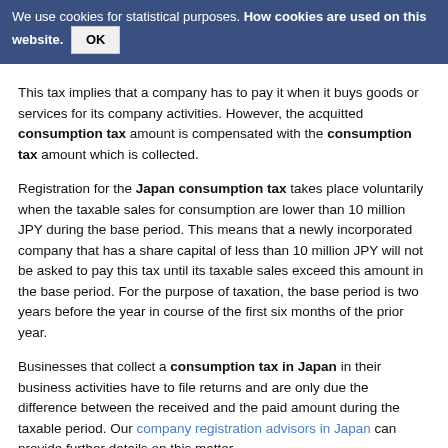We use cookies for statistical purposes. How cookies are used on this website. OK
This tax implies that a company has to pay it when it buys goods or services for its company activities. However, the acquitted consumption tax amount is compensated with the consumption tax amount which is collected.
Registration for the Japan consumption tax takes place voluntarily when the taxable sales for consumption are lower than 10 million JPY during the base period. This means that a newly incorporated company that has a share capital of less than 10 million JPY will not be asked to pay this tax until its taxable sales exceed this amount in the base period. For the purpose of taxation, the base period is two years before the year in course of the first six months of the prior year.
Businesses that collect a consumption tax in Japan in their business activities have to file returns and are only due the difference between the received and the paid amount during the taxable period. Our company registration advisors in Japan can provide further details on this matter.
When and how is consumption tax...